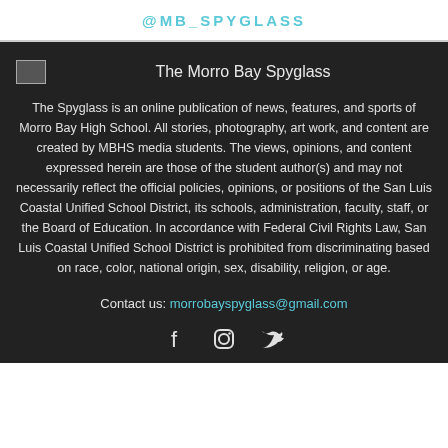@MB_SPYGLASS
The Morro Bay Spyglass
The Spyglass is an online publication of news, features, and sports of Morro Bay High School. All stories, photography, art work, and content are created by MBHS media students. The views, opinions, and content expressed herein are those of the student author(s) and may not necessarily reflect the official policies, opinions, or positions of the San Luis Coastal Unified School District, its schools, administration, faculty, staff, or the Board of Education. In accordance with Federal Civil Rights Law, San Luis Coastal Unified School District is prohibited from discriminating based on race, color, national origin, sex, disability, religion, or age.
Contact us: morrobayspyglass@gmail.com
[Figure (other): Social media icons: Facebook, Instagram, Twitter]